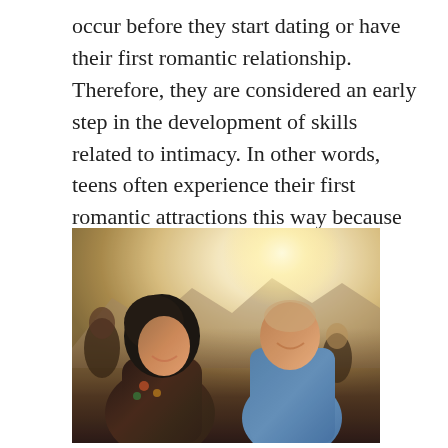occur before they start dating or have their first romantic relationship. Therefore, they are considered an early step in the development of skills related to intimacy. In other words, teens often experience their first romantic attractions this way because they don't yet know how to act on their own feelings.
[Figure (photo): A young woman and man laughing and smiling at each other at an outdoor social gathering or festival, with a crowd of people in the background and bright sunlight.]